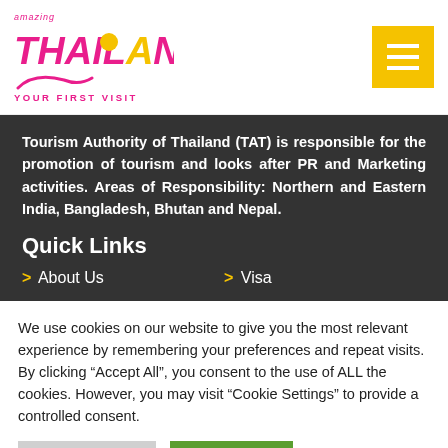amazing THAILAND YOUR FIRST VISIT
Tourism Authority of Thailand (TAT) is responsible for the promotion of tourism and looks after PR and Marketing activities. Areas of Responsibility: Northern and Eastern India, Bangladesh, Bhutan and Nepal.
Quick Links
> About Us
> Visa
We use cookies on our website to give you the most relevant experience by remembering your preferences and repeat visits. By clicking "Accept All", you consent to the use of ALL the cookies. However, you may visit "Cookie Settings" to provide a controlled consent.
Cookie Settings | Accept All